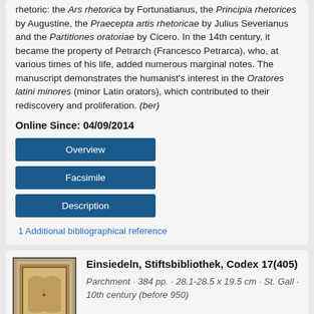rhetoric: the Ars rhetorica by Fortunatianus, the Principia rhetorices by Augustine, the Praecepta artis rhetoricae by Julius Severianus and the Partitiones oratoriae by Cicero. In the 14th century, it became the property of Petrarch (Francesco Petrarca), who, at various times of his life, added numerous marginal notes. The manuscript demonstrates the humanist's interest in the Oratores latini minores (minor Latin orators), which contributed to their rediscovery and proliferation. (ber)
Online Since: 04/09/2014
Overview
Facsimile
Description
1 Additional bibliographical reference
Einsiedeln, Stiftsbibliothek, Codex 17(405)
Parchment · 384 pp. · 28.1-28.5 x 19.5 cm · St. Gall · 10th century (before 950)